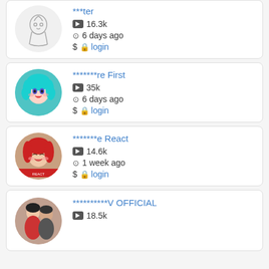[Figure (screenshot): Partial card at top: sketch avatar, channel name ***ter, 16.3k subscribers, 6 days ago, $ login]
[Figure (screenshot): Card: anime blue-hair girl avatar, channel name *******re First, 35k subscribers, 6 days ago, $ login]
[Figure (screenshot): Card: anime red-hair character avatar, channel name *******e React, 14.6k subscribers, 1 week ago, $ login]
[Figure (screenshot): Partial card at bottom: couple photo avatar, channel name **********V OFFICIAL, 18.5k subscribers]